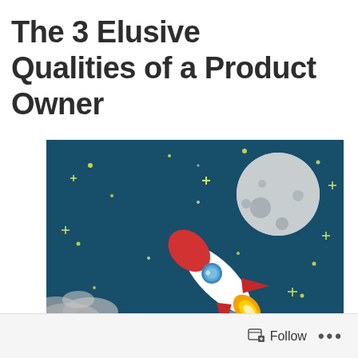The 3 Elusive Qualities of a Product Owner
[Figure (illustration): Cartoon illustration of a rocket launching into a dark teal space background with stars, a moon in the upper right, and clouds/exhaust at the bottom left. The rocket is red and white with a circular blue porthole window and orange/yellow flame exhaust.]
Follow ...